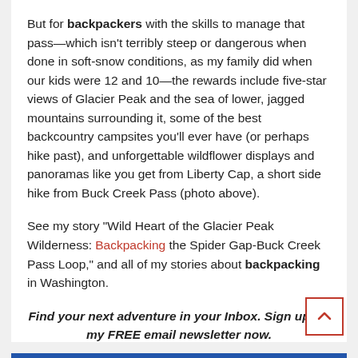But for backpackers with the skills to manage that pass—which isn't terribly steep or dangerous when done in soft-snow conditions, as my family did when our kids were 12 and 10—the rewards include five-star views of Glacier Peak and the sea of lower, jagged mountains surrounding it, some of the best backcountry campsites you'll ever have (or perhaps hike past), and unforgettable wildflower displays and panoramas like you get from Liberty Cap, a short side hike from Buck Creek Pass (photo above).
See my story "Wild Heart of the Glacier Peak Wilderness: Backpacking the Spider Gap-Buck Creek Pass Loop," and all of my stories about backpacking in Washington.
Find your next adventure in your Inbox. Sign up for my FREE email newsletter now.